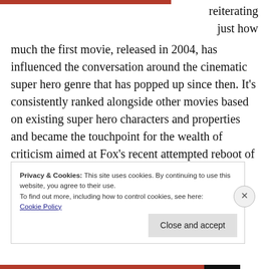[Figure (other): Dark red horizontal bar at top left of page]
reiterating just how much the first movie, released in 2004, has influenced the conversation around the cinematic super hero genre that has popped up since then. It's consistently ranked alongside other movies based on existing super hero characters and properties and became the touchpoint for the wealth of criticism aimed at Fox's recent attempted reboot of Fantastic Four.
Privacy & Cookies: This site uses cookies. By continuing to use this website, you agree to their use.
To find out more, including how to control cookies, see here:
Cookie Policy